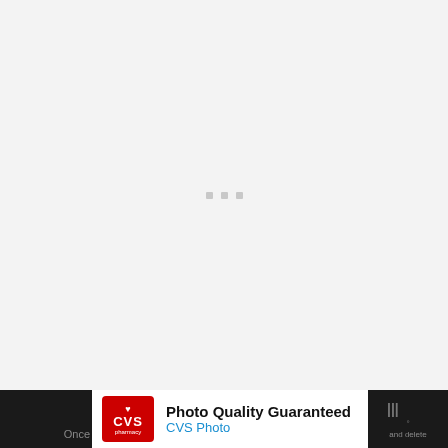[Figure (other): Loading screen with three small grey dots centered on a light grey background]
[Figure (screenshot): Advertisement banner: CVS Pharmacy - Photo Quality Guaranteed, CVS Photo with blue arrow navigation icon, on dark background bar. Partial text visible on left: 'Once' and on right: 'and delete']